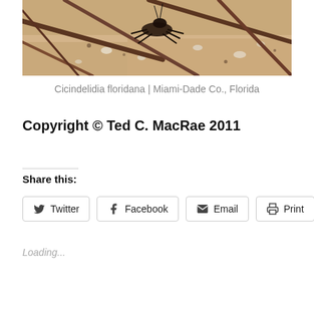[Figure (photo): Close-up macro photograph of Cicindelidia floridana (tiger beetle) on sandy ground with twigs and debris, showing detailed textures of the beetle and sandy substrate.]
Cicindelidia floridana | Miami-Dade Co., Florida
Copyright © Ted C. MacRae 2011
Share this:
Loading...